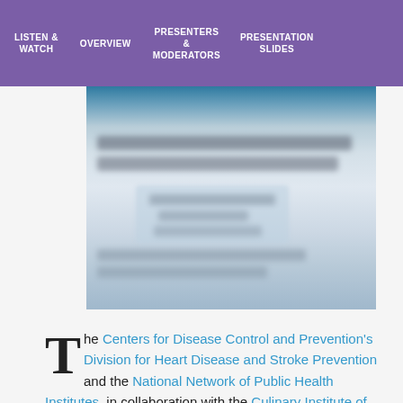LISTEN & WATCH | OVERVIEW | PRESENTERS & MODERATORS | PRESENTATION SLIDES
[Figure (screenshot): Blurred/redacted screenshot of a webinar or presentation slide with teal header and partially visible text content]
The Centers for Disease Control and Prevention's Division for Heart Disease and Stroke Prevention and the National Network of Public Health Institutes, in collaboration with the Culinary Institute of America, are pleased to announce the third in a series of Web